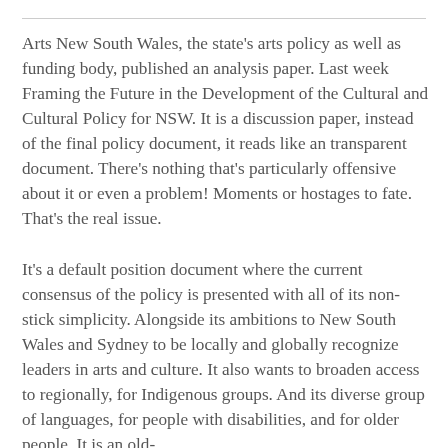Arts New South Wales, the state's arts policy as well as funding body, published an analysis paper. Last week Framing the Future in the Development of the Cultural and Cultural Policy for NSW. It is a discussion paper, instead of the final policy document, it reads like an transparent document. There's nothing that's particularly offensive about it or even a problem! Moments or hostages to fate. That's the real issue.
It's a default position document where the current consensus of the policy is presented with all of its non-stick simplicity. Alongside its ambitions to New South Wales and Sydney to be locally and globally recognize leaders in arts and culture. It also wants to broaden access to regionally, for Indigenous groups. And its diverse group of languages, for people with disabilities, and for older people. It is an old-